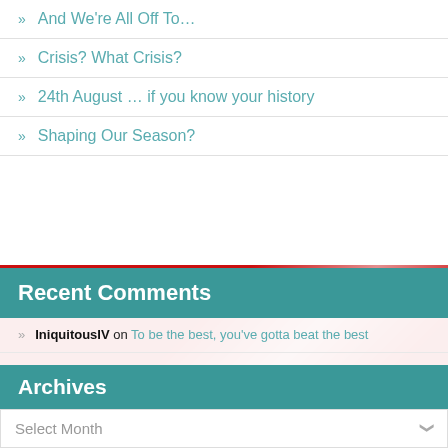» And We're All Off To…
» Crisis? What Crisis?
» 24th August … if you know your history
» Shaping Our Season?
[Figure (photo): Red and white sports/football themed background image with a player visible]
Recent Comments
IniquitousIV on To be the best, you've gotta beat the best
IniquitousIV on To be the best, you've gotta beat the best
IniquitousIV on To be the best, you've gotta beat the best
IniquitousIV on To be the best, you've gotta beat the best
IniquitousIV on To be the best, you've gotta beat the best
Archives
Select Month